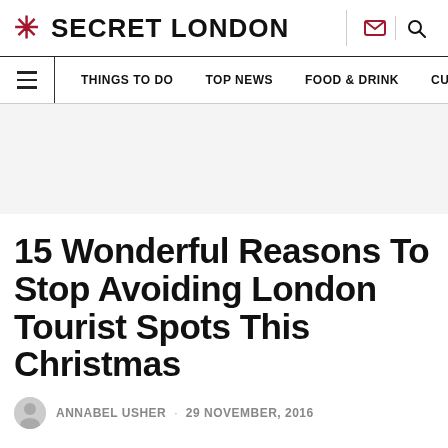SECRET LONDON
THINGS TO DO · TOP NEWS · FOOD & DRINK · CULTURE
15 Wonderful Reasons To Stop Avoiding London Tourist Spots This Christmas
ANNABEL USHER · 29 NOVEMBER, 2016